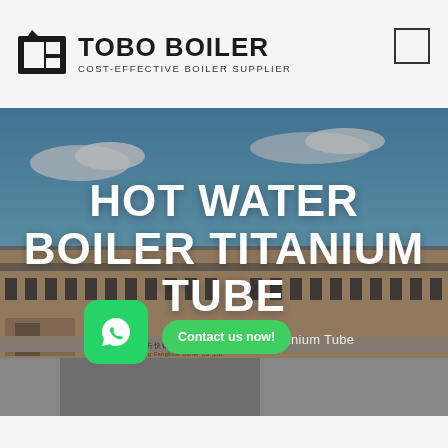[Figure (logo): TOBO BOILER logo with geometric icon and text 'COST-EFFECTIVE BOILER SUPPLIER']
[Figure (photo): Aerial/ground view of a large industrial boiler manufacturing facility building in China (Anyang Fangkuai Boiler Co., Ltd.), with blue sky and clouds]
HOT WATER BOILER TITANIUM TUBE
Home | Hot Water Boiler Titanium Tube
[Figure (other): WhatsApp contact button (green rounded square with WhatsApp phone icon)]
Contact us now!